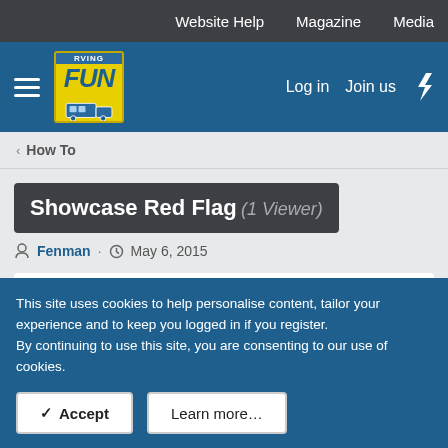Website Help · Magazine · Media
[Figure (logo): RVing Fun logo with yellow badge and motorhome illustration, hamburger menu icon, Log in and Join us links in blue navigation bar]
< How To
Showcase Red Flag (1 Viewer)
Fenman · May 6, 2015
[Figure (photo): Avatar photo of Fenman showing a stone building]
Fenman
This site uses cookies to help personalise content, tailor your experience and to keep you logged in if you register.
By continuing to use this site, you are consenting to our use of cookies.
✓ Accept    Learn more...